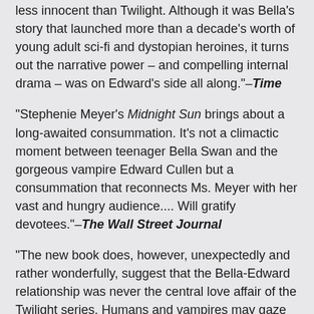less innocent than Twilight. Although it was Bella's story that launched more than a decade's worth of young adult sci-fi and dystopian heroines, it turns out the narrative power – and compelling internal drama – was on Edward's side all along."–Time
"Stephenie Meyer's Midnight Sun brings about a long-awaited consummation. It's not a climactic moment between teenager Bella Swan and the gorgeous vampire Edward Cullen but a consummation that reconnects Ms. Meyer with her vast and hungry audience.... Will gratify devotees."–The Wall Street Journal
"The new book does, however, unexpectedly and rather wonderfully, suggest that the Bella-Edward relationship was never the central love affair of the Twilight series. Humans and vampires may gaze meaningfully into each other's eyes, but the true passion in the books is Meyer's